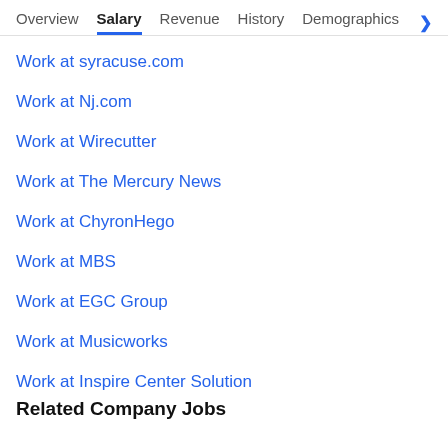Overview  Salary  Revenue  History  Demographics >
Work at syracuse.com
Work at Nj.com
Work at Wirecutter
Work at The Mercury News
Work at ChyronHego
Work at MBS
Work at EGC Group
Work at Musicworks
Work at Inspire Center Solution
Related Company Jobs